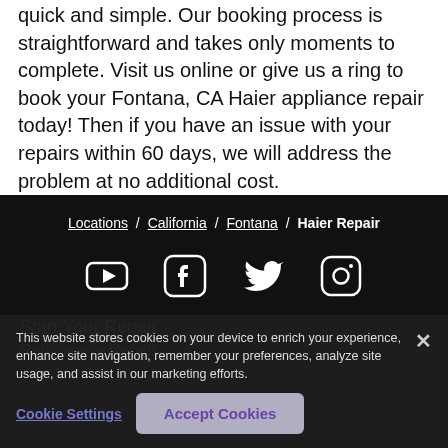quick and simple. Our booking process is straightforward and takes only moments to complete. Visit us online or give us a ring to book your Fontana, CA Haier appliance repair today! Then if you have an issue with your repairs within 60 days, we will address the problem at no additional cost.
Locations / California / Fontana / Haier Repair
[Figure (other): Social media icons: YouTube, Facebook, Twitter, Instagram]
Start Your Repair
Refrigerator Repair
This website stores cookies on your device to enrich your experience, enhance site navigation, remember your preferences, analyze site usage, and assist in our marketing efforts.
Cookie Settings
Accept Cookies